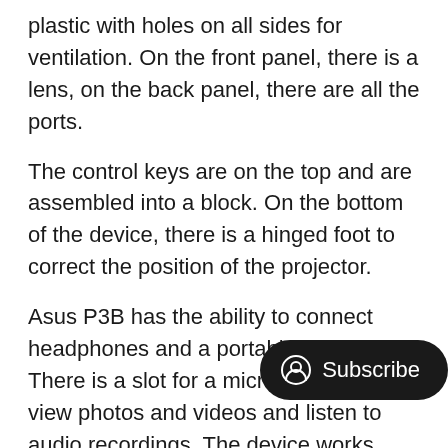plastic with holes on all sides for ventilation. On the front panel, there is a lens, on the back panel, there are all the ports.
The control keys are on the top and are assembled into a block. On the bottom of the device, there is a hinged foot to correct the position of the projector.
Asus P3B has the ability to connect headphones and a portable speaker. There is a slot for a microSD-card to view photos and videos and listen to audio recordings. The device works autonomously on battery power for 2.5-3 hours. It comes with a bag to carry the projector and small remote control.
Pros:
Built-in rechargeable battery;